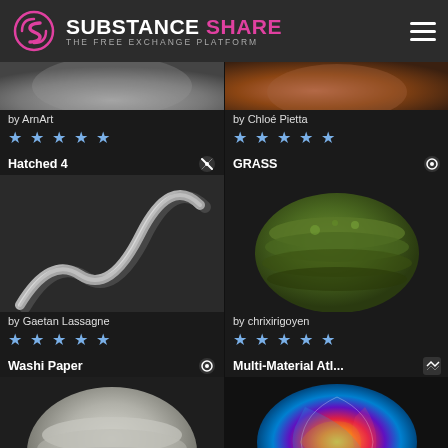[Figure (screenshot): Substance Share website header with logo, tagline 'THE FREE EXCHANGE PLATFORM', and hamburger menu]
by ArnArt
[Figure (photo): 5-star rating row for ArnArt item]
Hatched 4
[Figure (photo): Hatched 4 material preview - wavy white lines on dark background by Gaetan Lassagne]
by Gaetan Lassagne
[Figure (photo): 5-star rating row for Gaetan Lassagne item]
Washi Paper
[Figure (photo): Washi Paper material preview - white layered paper sphere by sebastian-knueppel]
by sebastian-knueppel
by Chloé Pietta
[Figure (photo): 5-star rating row for Chloé Pietta item]
GRASS
[Figure (photo): GRASS material preview - green stacked coin-like sphere by chrixirigoyen]
by chrixirigoyen
[Figure (photo): 5-star rating row for chrixirigoyen item]
Multi-Material Atl...
[Figure (photo): Multi-Material Atlas material preview - colorful swirling abstract sphere by TooManyDemons]
by TooManyDemons